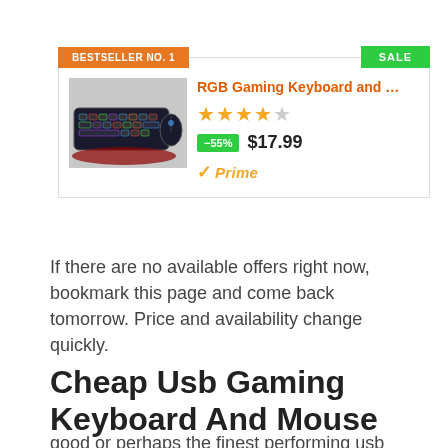[Figure (infographic): Product listing card with BESTSELLER NO. 1 and SALE badges, image of RGB gaming keyboard and mouse, title, 4.5-star rating, -55% discount badge, $17.99 price, and Amazon Prime logo]
If there are no available offers right now, bookmark this page and come back tomorrow. Price and availability change quickly.
Cheap Usb Gaming Keyboard And Mouse
good or perhaps the finest performing usb